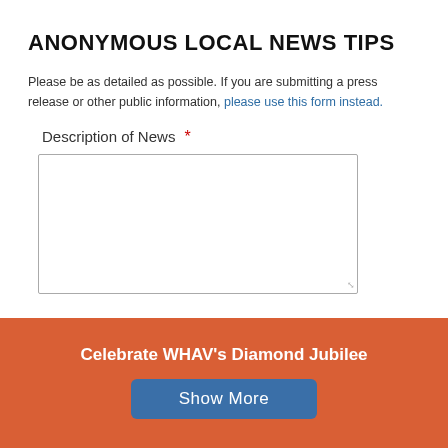ANONYMOUS LOCAL NEWS TIPS
Please be as detailed as possible. If you are submitting a press release or other public information, please use this form instead.
Description of News *
[Figure (screenshot): Empty textarea input field for news description]
Celebrate WHAV's Diamond Jubilee
Show More